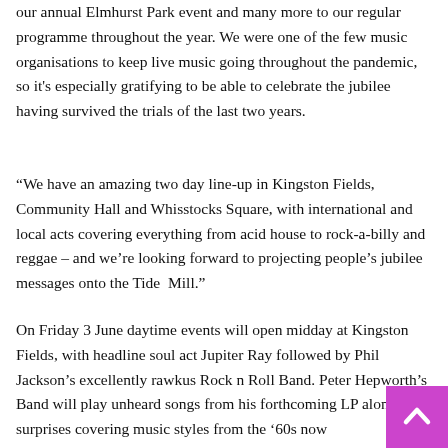our annual Elmhurst Park event and many more to our regular programme throughout the year. We were one of the few music organisations to keep live music going throughout the pandemic, so it's especially gratifying to be able to celebrate the jubilee having survived the trials of the last two years.
“We have an amazing two day line-up in Kingston Fields, Community Hall and Whisstocks Square, with international and local acts covering everything from acid house to rock-a-billy and reggae – and we’re looking forward to projecting people’s jubilee messages onto the Tide  Mill.”
On Friday 3 June daytime events will open midday at Kingston Fields, with headline soul act Jupiter Ray followed by Phil Jackson’s excellently rawkus Rock n Roll Band. Peter Hepworth’s Band will play unheard songs from his forthcoming LP alongside surprises covering music styles from the ’60s now